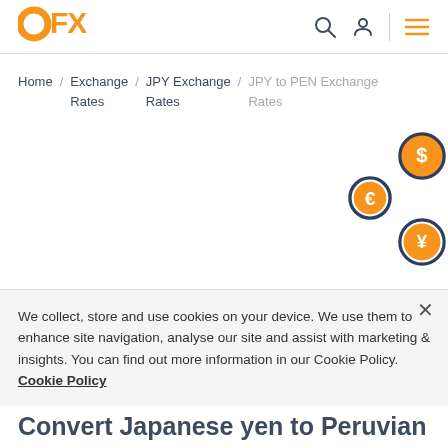OFX
Home / Exchange Rates / JPY Exchange Rates / JPY to PEN Exchange Rates
[Figure (illustration): Three circular currency coin icons: a dollar sign coin (top right), a euro sign coin (middle), and a yen sign coin (bottom right), each with an orange fill and dark navy border.]
We collect, store and use cookies on your device. We use them to enhance site navigation, analyse our site and assist with marketing & insights. You can find out more information in our Cookie Policy. Cookie Policy
Convert Japanese yen to Peruvian